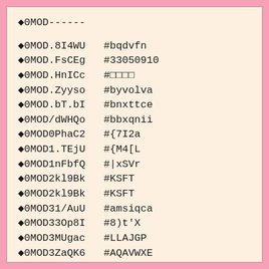◆0MOD------
◆0MOD.8I4WU   #bqdvfn
◆0MOD.FsCEg   #33050910
◆0MOD.HnICc   #□□□□
◆0MOD.Zyyso   #byvolva
◆0MOD.bT.bI   #bnxttce
◆0MOD/dWHQo   #bbxqnii
◆0MOD0PhaC2   #{7I2a
◆0MOD1.TEjU   #{M4[L
◆0MOD1nFbfQ   #|xSVr
◆0MOD2kl9Bk   #KSFT
◆0MOD2kl9Bk   #KSFT
◆0MOD31/AuU   #amsiqca
◆0MOD33Op8I   #8)t'X
◆0MOD3MUgac   #LLAJGP
◆0MOD3ZaQK6   #AQAVWXE
◆0MOD5pP1jw   #bzxsueg